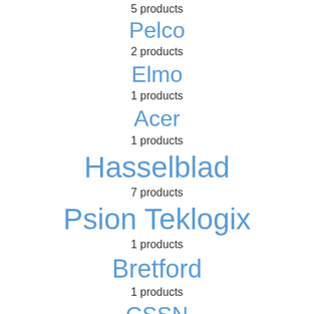5 products
Pelco
2 products
Elmo
1 products
Acer
1 products
Hasselblad
7 products
Psion Teklogix
1 products
Bretford
1 products
CSSN
1 products